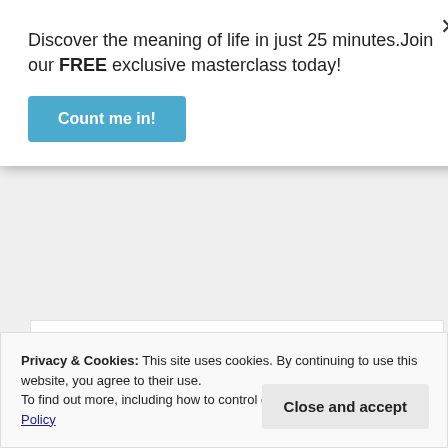Discover the meaning of life in just 25 minutes.Join our FREE exclusive masterclass today!
Count me in!
April 9, 2021 at 7:30 am
Hi Karl!
Thanks for your comment. God instituted marriage.
Our Gregorian calendar is based on pagan
Privacy & Cookies: This site uses cookies. By continuing to use this website, you agree to their use.
To find out more, including how to control cookies, see here: Cookie Policy
Close and accept